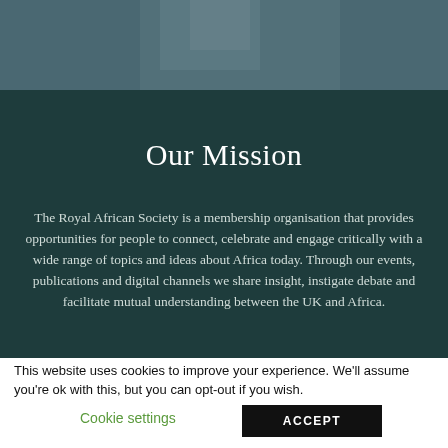[Figure (photo): Partial view of a person against a muted background, upper portion only visible]
Our Mission
The Royal African Society is a membership organisation that provides opportunities for people to connect, celebrate and engage critically with a wide range of topics and ideas about Africa today. Through our events, publications and digital channels we share insight, instigate debate and facilitate mutual understanding between the UK and Africa.
This website uses cookies to improve your experience. We'll assume you're ok with this, but you can opt-out if you wish.
Cookie settings
ACCEPT